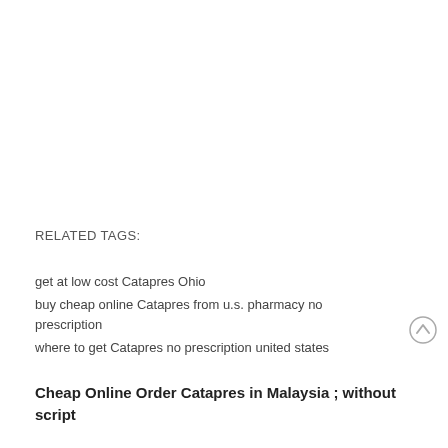RELATED TAGS:
get at low cost Catapres Ohio
buy cheap online Catapres from u.s. pharmacy no prescription
where to get Catapres no prescription united states
Cheap Online Order Catapres in Malaysia ; without script